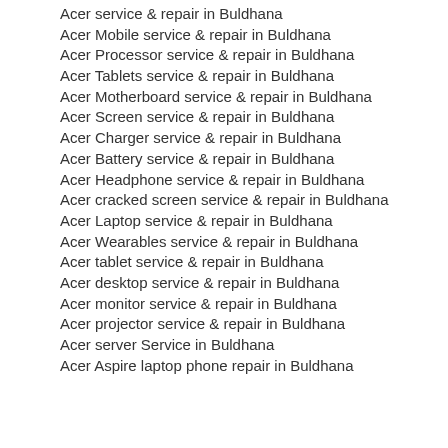Acer service & repair in Buldhana
Acer Mobile service & repair in Buldhana
Acer Processor service & repair in Buldhana
Acer Tablets service & repair in Buldhana
Acer Motherboard service & repair in Buldhana
Acer Screen service & repair in Buldhana
Acer Charger service & repair in Buldhana
Acer Battery service & repair in Buldhana
Acer Headphone service & repair in Buldhana
Acer cracked screen service & repair in Buldhana
Acer Laptop service & repair in Buldhana
Acer Wearables service & repair in Buldhana
Acer tablet service & repair in Buldhana
Acer desktop service & repair in Buldhana
Acer monitor service & repair in Buldhana
Acer projector service & repair in Buldhana
Acer server Service in Buldhana
Acer Aspire laptop phone repair in Buldhana